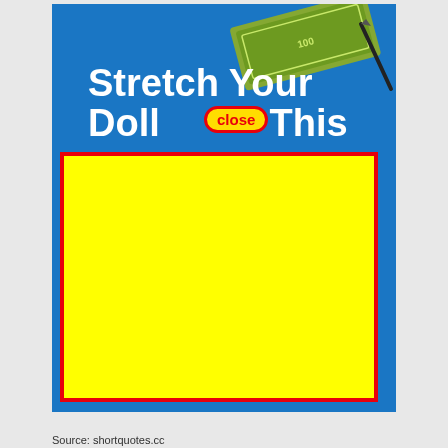[Figure (infographic): Blue background promotional image with white bold text reading 'Stretch Your Doll[ar] This' partially overlaid by a close button and a yellow advertisement box with red border. Dollar bills visible in top right corner.]
Source: shortquotes.cc